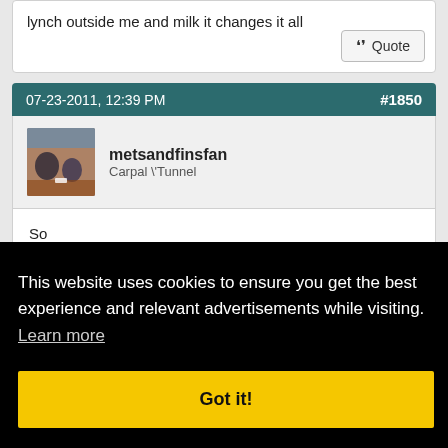lynch outside me and milk it changes it all
Quote
07-23-2011, 12:39 PM   #1850
metsandfinsfan
Carpal \Tunnel
So

Telco will vote cri or milk only
This website uses cookies to ensure you get the best experience and relevant advertisements while visiting. Learn more
Got it!